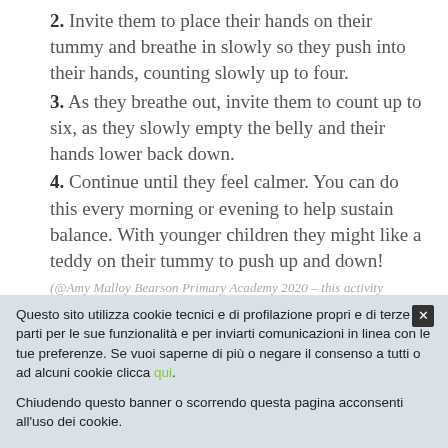2. Invite them to place their hands on their tummy and breathe in slowly so they push into their hands, counting slowly up to four.
3. As they breathe out, invite them to count up to six, as they slowly empty the belly and their hands lower back down.
4. Continue until they feel calmer. You can do this every morning or evening to help sustain balance. With younger children they might like a teddy on their tummy to push up and down!
(@Amy Malloy Bearson Primary Academy 2020 – this activity
Questo sito utilizza cookie tecnici e di profilazione propri e di terze parti per le sue funzionalità e per inviarti comunicazioni in linea con le tue preferenze. Se vuoi saperne di più o negare il consenso a tutti o ad alcuni cookie clicca qui.

Chiudendo questo banner o scorrendo questa pagina acconsenti all'uso dei cookie.